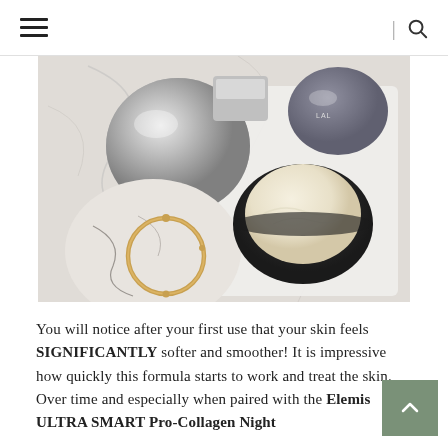≡  |  🔍
[Figure (photo): Overhead flat-lay photo on a marble surface showing skincare products: a silver spherical lid, a glass jar with gold bracelet and marbled dish, and an open dark jar with cream, along with other silver-toned beauty product containers.]
You will notice after your first use that your skin feels SIGNIFICANTLY softer and smoother! It is impressive how quickly this formula starts to work and treat the skin. Over time and especially when paired with the Elemis ULTRA SMART Pro-Collagen Night